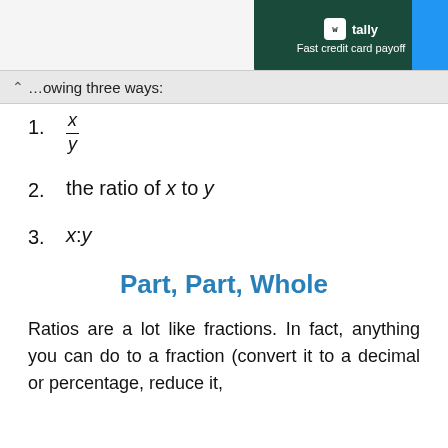[Figure (other): Tally app advertisement banner: dark green background with 'tally Fast credit card payoff' text and blue circle on right]
…owing three ways:
1. x/y (fraction)
2. the ratio of x to y
3. x:y
Part, Part, Whole
Ratios are a lot like fractions. In fact, anything you can do to a fraction (convert it to a decimal or percentage, reduce it, and so on) you can do to a ratio. The